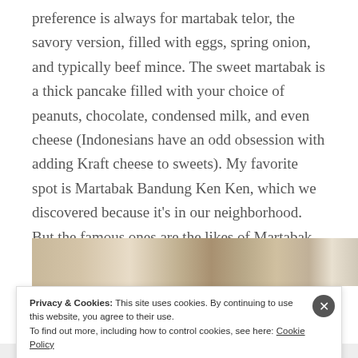preference is always for martabak telor, the savory version, filled with eggs, spring onion, and typically beef mince. The sweet martabak is a thick pancake filled with your choice of peanuts, chocolate, condensed milk, and even cheese (Indonesians have an odd obsession with adding Kraft cheese to sweets). My favorite spot is Martabak Bandung Ken Ken, which we discovered because it's in our neighborhood. But the famous ones are the likes of Martabak Pecenongan or Martabak Boss.
[Figure (photo): Partial photo strip of food, presumably martabak]
Privacy & Cookies: This site uses cookies. By continuing to use this website, you agree to their use.
To find out more, including how to control cookies, see here: Cookie Policy
Close and accept